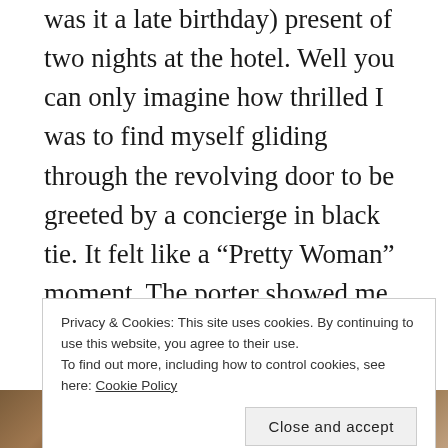was it a late birthday) present of two nights at the hotel. Well you can only imagine how thrilled I was to find myself gliding through the revolving door to be greeted by a concierge in black tie. It felt like a “Pretty Woman” moment. The porter showed me to my room and looked slightly askance when I exclaimed ‘wow, a bath, I haven’t had one of those for 10 months’! The bathroom was stocked with Asprey lotions and potions, there were chocolates on my pillow and the most luxurious bathrobe to don for going to the rooftop leisure complex. I decided downtown Santiago could wait for
Privacy & Cookies: This site uses cookies. By continuing to use this website, you agree to their use.
To find out more, including how to control cookies, see here: Cookie Policy
[Figure (photo): Two partial photos side by side at the bottom of the page, partially obscured by the cookie banner. Left photo shows warm brown tones, right photo shows lighter beige/tan tones.]